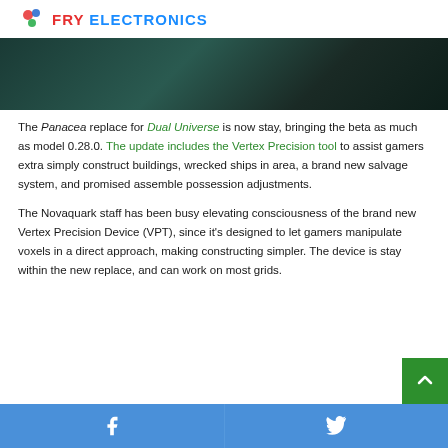FRY ELECTRONICS
[Figure (photo): Dark teal/green hero image banner]
The Panacea replace for Dual Universe is now stay, bringing the beta as much as model 0.28.0. The update includes the Vertex Precision tool to assist gamers extra simply construct buildings, wrecked ships in area, a brand new salvage system, and promised assemble possession adjustments.
The Novaquark staff has been busy elevating consciousness of the brand new Vertex Precision Device (VPT), since it's designed to let gamers manipulate voxels in a direct approach, making constructing simpler. The device is stay within the new replace, and can work on most grids.